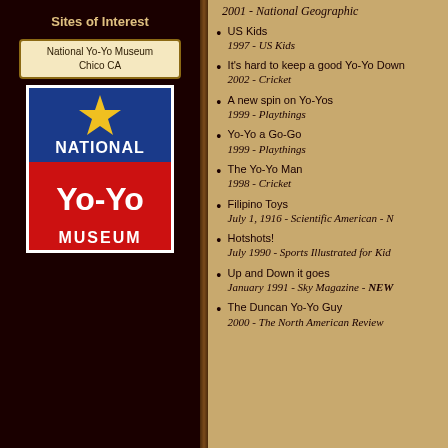Sites of Interest
National Yo-Yo Museum
Chico CA
[Figure (logo): National Yo-Yo Museum logo with blue top panel featuring yellow star and 'NATIONAL' text, red bottom panel with 'Yo-Yo MUSEUM' text]
2001 - National Geographic
US Kids
1997 - US Kids
It's hard to keep a good Yo-Yo Down
2002 - Cricket
A new spin on Yo-Yos
1999 - Playthings
Yo-Yo a Go-Go
1999 - Playthings
The Yo-Yo Man
1998 - Cricket
Filipino Toys
July 1, 1916 - Scientific American - N
Hotshots!
July 1990 - Sports Illustrated for Kid
Up and Down it goes
January 1991 - Sky Magazine - NEW
The Duncan Yo-Yo Guy
2000 - The North American Review